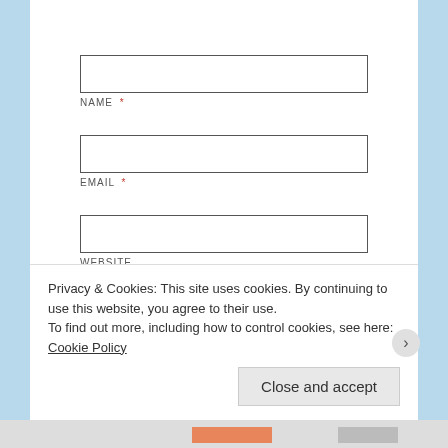[Figure (screenshot): Top portion of a text area input field, partially visible at the top of the page]
NAME *
EMAIL *
WEBSITE
Post Comment
Notify me of new comments via email.
Privacy & Cookies: This site uses cookies. By continuing to use this website, you agree to their use.
To find out more, including how to control cookies, see here: Cookie Policy
Close and accept